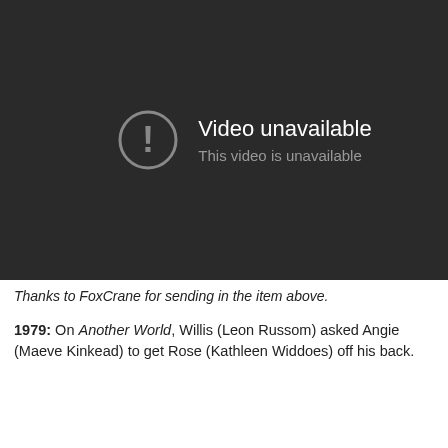[Figure (screenshot): YouTube video unavailable placeholder with dark background, circle exclamation icon, text 'Video unavailable' and 'This video is unavailable']
Thanks to FoxCrane for sending in the item above.
1979: On Another World, Willis (Leon Russom) asked Angie (Maeve Kinkead) to get Rose (Kathleen Widdoes) off his back.